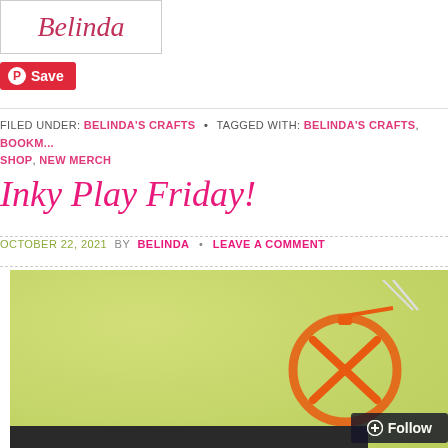[Figure (logo): Belinda signature logo in cursive pink text inside a white bordered box]
[Figure (other): Pinterest Save button in red]
FILED UNDER: BELINDA'S CRAFTS • TAGGED WITH: BELINDA'S CRAFTS, BOOKM... SHOP, NEW MERCH
Inky Play Friday!
OCTOBER 22, 2021 BY BELINDA • LEAVE A COMMENT
[Figure (photo): Photo of an orange glittery pumpkin ornament hanging on a light string against a green wall, with a dark stand/base at the bottom. A Follow button is visible in the bottom right corner.]